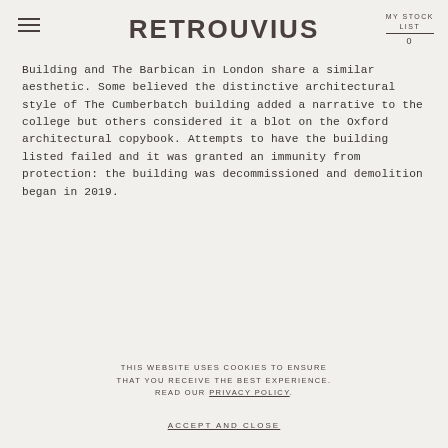RETROUVIUS  MY STOCK LIST 0
Building and The Barbican in London share a similar aesthetic. Some believed the distinctive architectural style of The Cumberbatch building added a narrative to the college but others considered it a blot on the Oxford architectural copybook. Attempts to have the building listed failed and it was granted an immunity from protection: the building was decommissioned and demolition began in 2019.
THIS WEBSITE USES COOKIES TO ENSURE THAT YOU RECEIVE THE BEST EXPERIENCE. READ OUR PRIVACY POLICY.
ACCEPT AND CLOSE